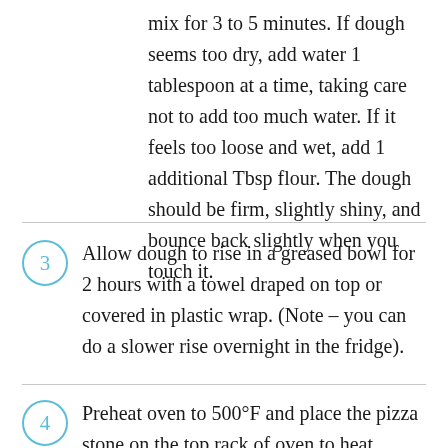mix for 3 to 5 minutes. If dough seems too dry, add water 1 tablespoon at a time, taking care not to add too much water. If it feels too loose and wet, add 1 additional Tbsp flour. The dough should be firm, slightly shiny, and bounce back slightly when you touch it.
3  Allow dough to rise in a greased bowl for 2 hours with a towel draped on top or covered in plastic wrap. (Note – you can do a slower rise overnight in the fridge).
4  Preheat oven to 500°F and place the pizza stone on the top rack of oven to heat. Leave pizza stone in heated oven for at least 30 minutes. (Note: